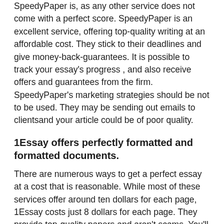SpeedyPaper is, as any other service does not come with a perfect score. SpeedyPaper is an excellent service, offering top-quality writing at an affordable cost. They stick to their deadlines and give money-back-guarantees. It is possible to track your essay's progress , and also receive offers and guarantees from the firm. SpeedyPaper's marketing strategies should be not to be used. They may be sending out emails to clientsand your article could be of poor quality.
1Essay offers perfectly formatted and formatted documents.
There are numerous ways to get a perfect essay at a cost that is reasonable. While most of these services offer around ten dollars for each page, 1Essay costs just 8 dollars for each page. They provide top-quality papers and aren't scams. You'll know the precise price of your essay before you get started.